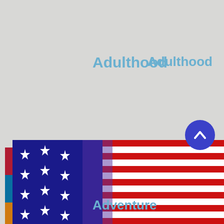Adulthood
Adventure
Alphabet
[Figure (infographic): Social sharing buttons: Pinterest (Pin It), LinkedIn (Share), Blogger (Share), Instagram (Share), Goodreads, Tumblr, More]
[Figure (photo): American flag waving, showing stars and stripes in red, white, and blue, with a blue scroll-up button in the top right corner]